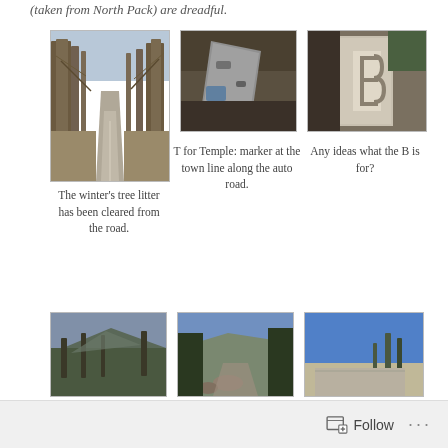(taken from North Pack) are dreadful.
[Figure (photo): A road through bare winter trees, paved path going into distance]
[Figure (photo): A stone marker or sign with T for Temple, at town line along auto road]
[Figure (photo): A stone marker with letter B carved into rock face]
The winter's tree litter has been cleared from the road.
T for Temple: marker at the town line along the auto road.
Any ideas what the B is for?
[Figure (photo): Mountain view with bare trees in foreground]
[Figure (photo): Trail view with trees and blue sky]
[Figure (photo): Road with blue sky and sparse trees]
Follow